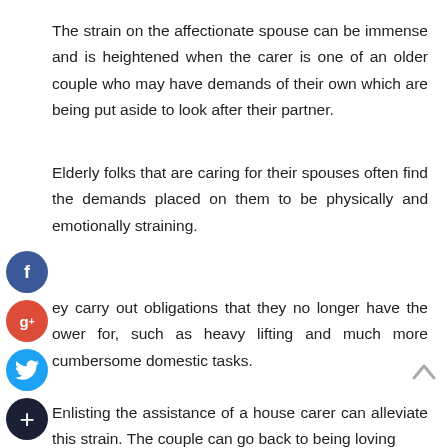The strain on the affectionate spouse can be immense and is heightened when the carer is one of an older couple who may have demands of their own which are being put aside to look after their partner.
Elderly folks that are caring for their spouses often find the demands placed on them to be physically and emotionally straining.
They carry out obligations that they no longer have the power for, such as heavy lifting and much more cumbersome domestic tasks.
Enlisting the assistance of a house carer can alleviate this strain. The couple can go back to being loving